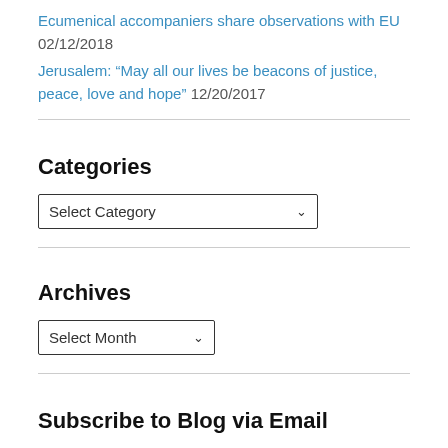Ecumenical accompaniers share observations with EU 02/12/2018
Jerusalem: “May all our lives be beacons of justice, peace, love and hope” 12/20/2017
Categories
Select Category
Archives
Select Month
Subscribe to Blog via Email
Enter your email address to subscribe to this blog and receive notifications of new posts by email.
Email Address